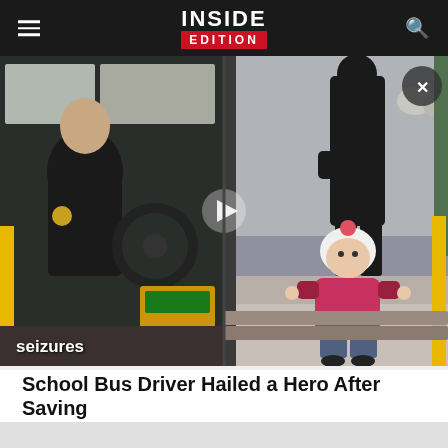INSIDE EDITION
[Figure (screenshot): Split video screenshot showing a bus driver on the left seated at the wheel in uniform, and on the right a small toddler in a pink jacket and white hood climbing bus steps, with an adult figure walking away in background. Overlay text reads 'seizures' partially visible at bottom left.]
School Bus Driver Hailed a Hero After Saving